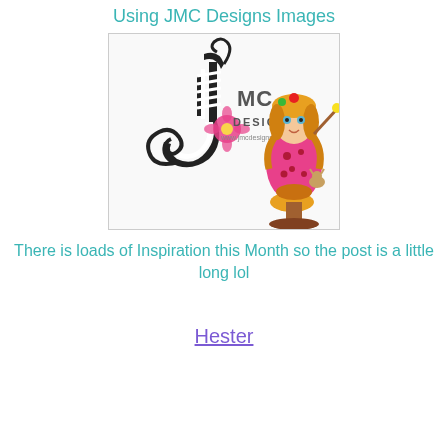Using JMC Designs Images
[Figure (logo): JMC Designs logo featuring decorative black-and-white striped J letter with swirl, pink flower, the text 'JMC DESIGNS' and 'www.jmcdesigns.co.uk', alongside an illustrated cartoon girl character in a pink polka-dot dress sitting on a mushroom.]
There is loads of Inspiration this Month so the post is a little long lol
Hester